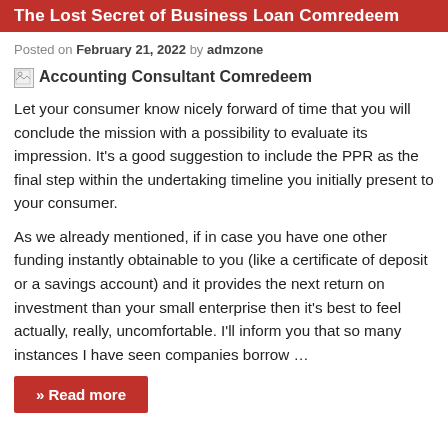The Lost Secret of Business Loan Comredeem
Posted on February 21, 2022 by admzone
[Figure (photo): Broken image placeholder with alt text 'Accounting Consultant Comredeem']
Let your consumer know nicely forward of time that you will conclude the mission with a possibility to evaluate its impression. It’s a good suggestion to include the PPR as the final step within the undertaking timeline you initially present to your consumer.
As we already mentioned, if in case you have one other funding instantly obtainable to you (like a certificate of deposit or a savings account) and it provides the next return on investment than your small enterprise then it’s best to feel actually, really, uncomfortable. I’ll inform you that so many instances I have seen companies borrow …
» Read more